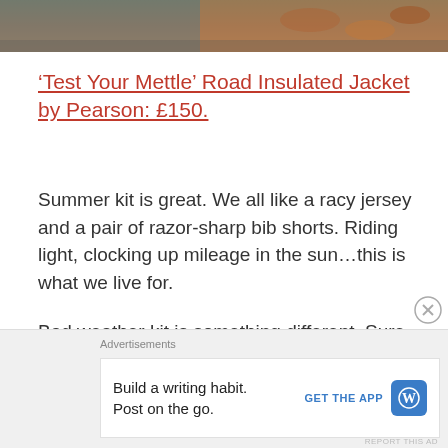[Figure (photo): Partial view of an outdoor autumn scene, cropped at top showing fallen leaves and pavement]
'Test Your Mettle' Road Insulated Jacket by Pearson: £150.
Summer kit is great. We all like a racy jersey and a pair of razor-sharp bib shorts. Riding light, clocking up mileage in the sun…this is what we live for.
Bad weather kit is something different. Sure, it can look good – stylish in a gritty, weatherproof kind of way – but there's more to it. A really decent piece of cold-weather kit inspires something deeper.
Advertisements
Build a writing habit. Post on the go.
GET THE APP